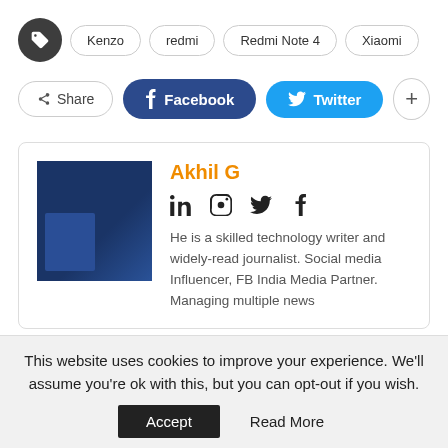Kenzo
redmi
Redmi Note 4
Xiaomi
Share | Facebook | Twitter | +
Akhil G
[Figure (photo): Profile photo of Akhil G showing social media profile screenshot]
He is a skilled technology writer and widely-read journalist. Social media Influencer, FB India Media Partner. Managing multiple news
This website uses cookies to improve your experience. We'll assume you're ok with this, but you can opt-out if you wish.
Accept   Read More